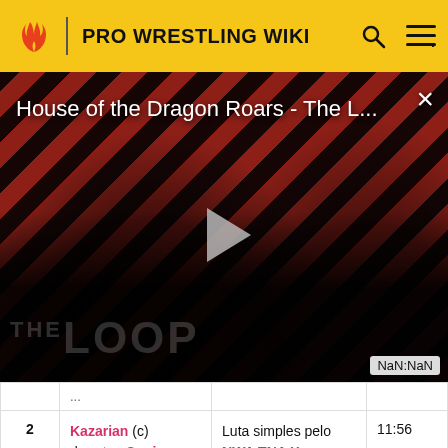PRO WRESTLING WIKI
[Figure (screenshot): Video player thumbnail for 'House of the Dragon Roars - The L...' with diagonal red/dark stripe pattern background, a play button in the center, 'THE LOOP' text watermark, and NaN:NaN timer display. A close (×) button appears top-right.]
| # | Luta | Tipo | Tempo |
| --- | --- | --- | --- |
| 2 | Kazarian (c) derrotou Sonjay Dutt | Luta simples pelo NWA TNA X Championship | 11:56 |
| 3 | Simon Diamond derrotou Johnny | Luta simples | 07:57 |